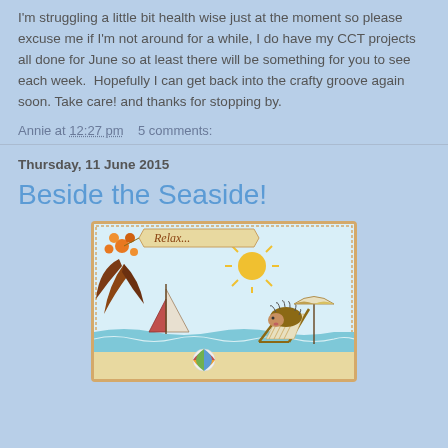I'm struggling a little bit health wise just at the moment so please excuse me if I'm not around for a while, I do have my CCT projects all done for June so at least there will be something for you to see each week. Hopefully I can get back into the crafty groove again soon. Take care! and thanks for stopping by.
Annie at 12:27 pm   5 comments:
Thursday, 11 June 2015
Beside the Seaside!
[Figure (illustration): A hand-stamped greeting card with a beach scene. Features a hedgehog relaxing in a deckchair, a sailboat on the water, a bright sun, waves, and a beach ball. Orange flowers and foliage decorate the top left corner. A banner reads 'Relax...' at the top.]